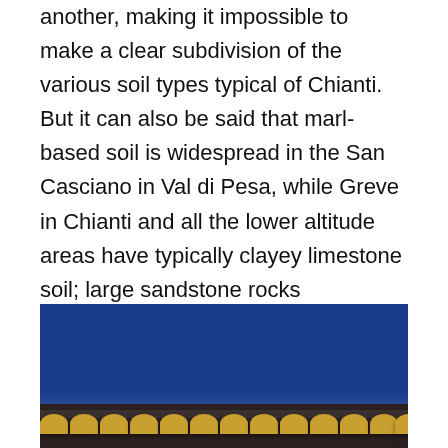another, making it impossible to make a clear subdivision of the various soil types typical of Chianti. But it can also be said that marl-based soil is widespread in the San Casciano in Val di Pesa, while Greve in Chianti and all the lower altitude areas have typically clayey limestone soil; large sandstone rocks characterize the Monte dei Chianti ridge; alberese is the principal element of the central-southern area, and tuff stone rock is found in most of the Castelnuovo Berardenga area. The area with a marked sandstone presence are severe and steep while the limestone hills are softer and rounder, and the clayey hills are even gentler.
[Figure (photo): A photo showing a deep blue sky with a rooftop featuring terracotta-colored curved roof tiles along the ridge, partially visible at the bottom of the image.]